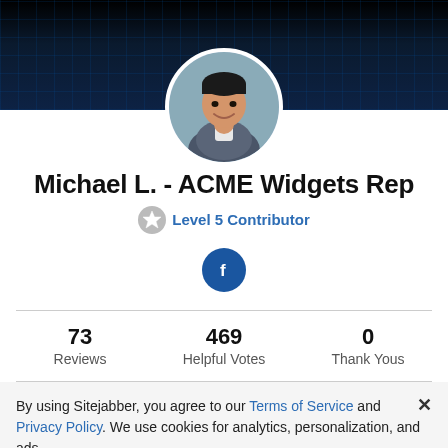[Figure (photo): User profile photo of Michael L. - a man smiling, displayed in a circular frame over a dark blue grid banner background]
Michael L. - ACME Widgets Rep
Level 5 Contributor
[Figure (logo): Facebook circular icon button in dark blue]
73
Reviews
469
Helpful Votes
0
Thank Yous
By using Sitejabber, you agree to our Terms of Service and Privacy Policy. We use cookies for analytics, personalization, and ads.